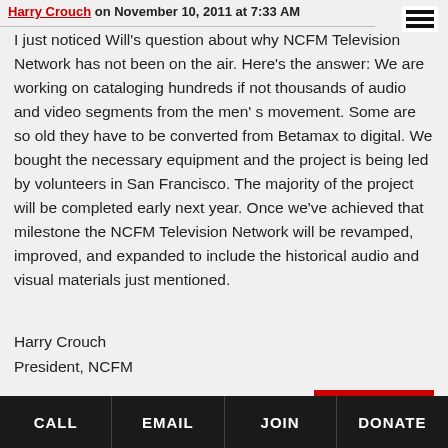Harry Crouch on November 10, 2011 at 7:33 AM
I just noticed Will's question about why NCFM Television Network has not been on the air. Here's the answer: We are working on cataloging hundreds if not thousands of audio and video segments from the men' s movement. Some are so old they have to be converted from Betamax to digital. We bought the necessary equipment and the project is being led by volunteers in San Francisco. The majority of the project will be completed early next year. Once we've achieved that milestone the NCFM Television Network will be revamped, improved, and expanded to include the historical audio and visual materials just mentioned.
Harry Crouch
President, NCFM
CALL | EMAIL | JOIN | DONATE